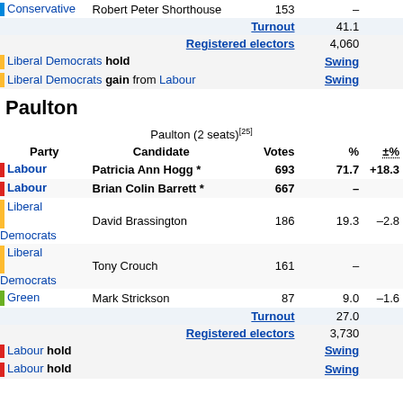| Party | Candidate | Votes | % | ±% |
| --- | --- | --- | --- | --- |
| Conservative | Robert Peter Shorthouse | 153 | – |  |
| Turnout |  |  | 41.1 |  |
| Registered electors |  | 4,060 |  |  |
| Liberal Democrats hold |  |  | Swing |  |
| Liberal Democrats gain from Labour |  |  | Swing |  |
Paulton
Paulton (2 seats)[25]
| Party | Candidate | Votes | % | ±% |
| --- | --- | --- | --- | --- |
| Labour | Patricia Ann Hogg * | 693 | 71.7 | +18.3 |
| Labour | Brian Colin Barrett * | 667 | – |  |
| Liberal Democrats | David Brassington | 186 | 19.3 | –2.8 |
| Liberal Democrats | Tony Crouch | 161 | – |  |
| Green | Mark Strickson | 87 | 9.0 | –1.6 |
| Turnout |  |  | 27.0 |  |
| Registered electors |  | 3,730 |  |  |
| Labour hold |  |  | Swing |  |
| Labour hold |  |  | Swing |  |